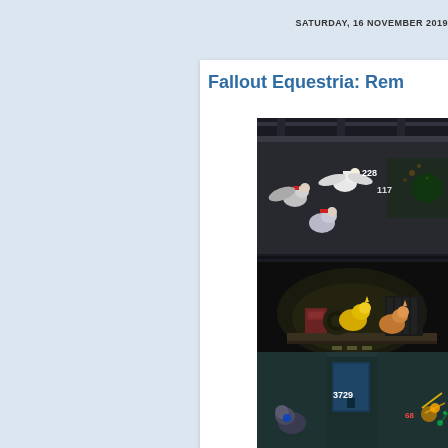SATURDAY, 16 NOVEMBER 2019
Fallout Equestria: Rem...
[Figure (screenshot): Video game screenshot from Fallout Equestria showing cartoon pony characters in a dark industrial multi-level environment with combat numbers visible (228, 117, 3729, 68). Three separate floors visible: top floor with winged pony characters in combat, middle floor with yellow and orange pony characters near equipment, bottom floor showing a teal metal room with robot and combat indicators.]